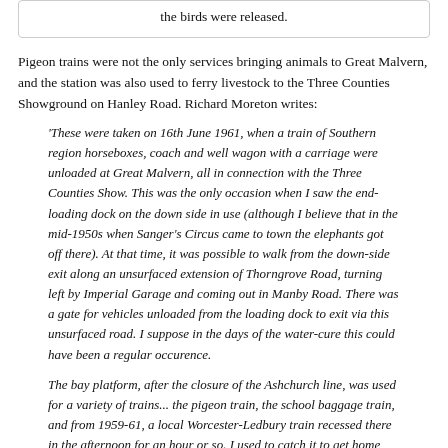the birds were released.
Pigeon trains were not the only services bringing animals to Great Malvern, and the station was also used to ferry livestock to the Three Counties Showground on Hanley Road. Richard Moreton writes:
'These were taken on 16th June 1961, when a train of Southern region horseboxes, coach and well wagon with a carriage were unloaded at Great Malvern, all in connection with the Three Counties Show. This was the only occasion when I saw the end-loading dock on the down side in use (although I believe that in the mid-1950s when Sanger's Circus came to town the elephants got off there). At that time, it was possible to walk from the down-side exit along an unsurfaced extension of Thorngrove Road, turning left by Imperial Garage and coming out in Manby Road. There was a gate for vehicles unloaded from the loading dock to exit via this unsurfaced road. I suppose in the days of the water-cure this could have been a regular occurence.
The bay platform, after the closure of the Ashchurch line, was used for a variety of trains... the pigeon train, the school baggage train, and from 1959-61, a local Worcester-Ledbury train recessed there in the afternoon for an hour or so. I used to catch it to get home from school, as the Paddington train ran non-stop from Great Malvern to Hereford, and I needed to retrieve my bike from Malvern Wells station.'